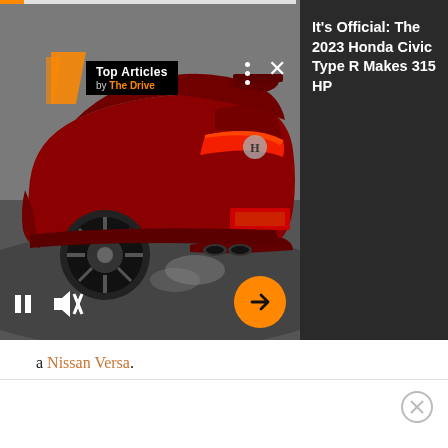[Figure (screenshot): An embedded ad widget showing a red Honda Civic Type R car from the rear-left angle on a dark background, with 'Top Articles by The Drive' badge overlay, video controls (pause, mute), dots menu, close X, and orange arrow navigation button. Right panel shows dark gray background with white text article title.]
a Nissan Versa.